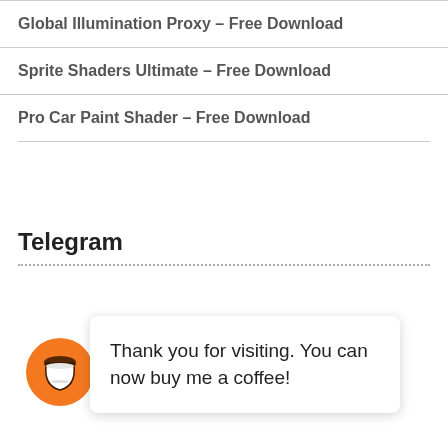Global Illumination Proxy – Free Download
Sprite Shaders Ultimate – Free Download
Pro Car Paint Shader – Free Download
Telegram
[Figure (screenshot): Telegram channel widget with green background, purple bold text reading 'We ... Tel ... to update Unity Assets faster. Click here to join or' and a coffee cup popup overlay saying 'Thank you for visiting. You can now buy me a coffee!']